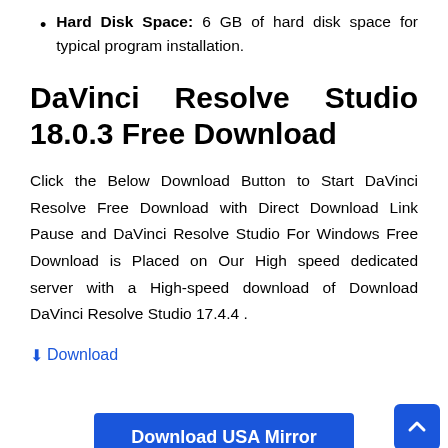Hard Disk Space: 6 GB of hard disk space for typical program installation.
DaVinci Resolve Studio 18.0.3 Free Download
Click the Below Download Button to Start DaVinci Resolve Free Download with Direct Download Link Pause and DaVinci Resolve Studio For Windows Free Download is Placed on Our High speed dedicated server with a High-speed download of Download DaVinci Resolve Studio 17.4.4 .
⬇Download
Download USA Mirror